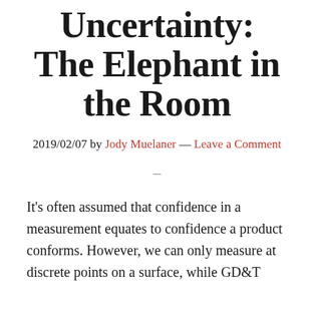Uncertainty: The Elephant in the Room
2019/02/07 by Jody Muelaner — Leave a Comment
–
It's often assumed that confidence in a measurement equates to confidence a product conforms. However, we can only measure at discrete points on a surface, while GD&T